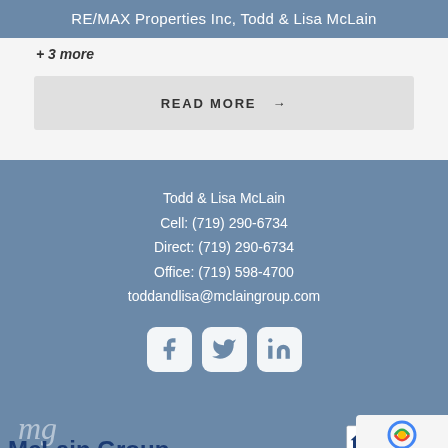RE/MAX Properties Inc, Todd & Lisa McLain
+ 3 more
READ MORE →
Todd & Lisa McLain
Cell: (719) 290-6734
Direct: (719) 290-6734
Office: (719) 598-4700
toddandlisa@mclaingroup.com
[Figure (infographic): Social media icons: Facebook, Twitter, LinkedIn — white rounded square buttons on blue-gray background]
[Figure (logo): McLain Group logo with script mg initials and blue McLain Group text]
[Figure (logo): Equal Housing Opportunity logo with Equal Ho... text]
[Figure (other): reCAPTCHA Privacy - Terms badge in bottom right corner]